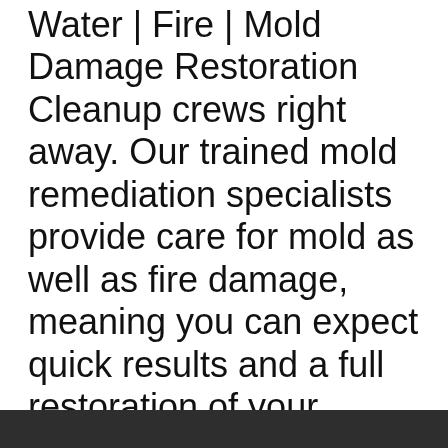Water | Fire | Mold Damage Restoration Cleanup crews right away. Our trained mold remediation specialists provide care for mold as well as fire damage, meaning you can expect quick results and a full restoration of your property in a timely fashion. Mold poses serious health risks when left untreated for an extended period of time and you can rest assured that our crews are fully certified in their mold remediation techniques and protocols before they begin working for you. Request an Estimate Today! We service the greater Cornelius Oregon area.